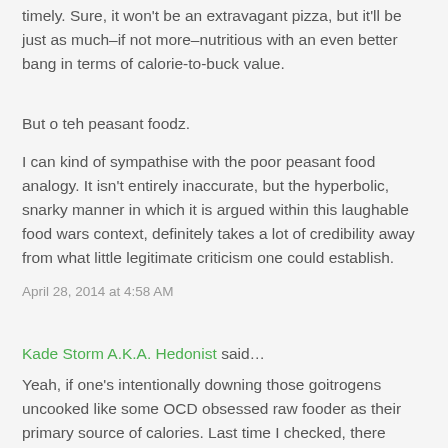timely. Sure, it won't be an extravagant pizza, but it'll be just as much–if not more–nutritious with an even better bang in terms of calorie-to-buck value.
But o teh peasant foodz.
I can kind of sympathise with the poor peasant food analogy. It isn't entirely inaccurate, but the hyperbolic, snarky manner in which it is argued within this laughable food wars context, definitely takes a lot of credibility away from what little legitimate criticism one could establish.
April 28, 2014 at 4:58 AM
Kade Storm A.K.A. Hedonist said…
Yeah, if one's intentionally downing those goitrogens uncooked like some OCD obsessed raw fooder as their primary source of calories. Last time I checked, there weren't a lot of people demolishing their thyroid with high